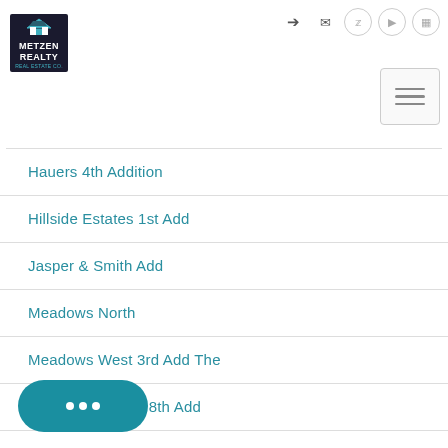Metzen Realty
Hauers 4th Addition
Hillside Estates 1st Add
Jasper & Smith Add
Meadows North
Meadows West 3rd Add The
Minnesota Valley 8th Add
...tates